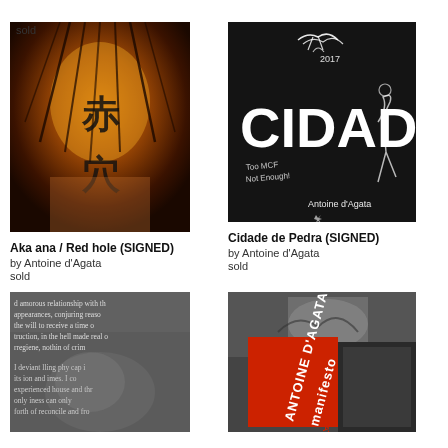sold
[Figure (photo): Close-up photo of a person with Japanese characters overlaid on skin, warm orange/red tones]
Aka ana / Red hole (SIGNED)
by Antoine d'Agata
sold
[Figure (photo): Black book cover with white text reading CIDADE and handwritten scrawl, with a drawn figure, by Antoine d'Agata]
Cidade de Pedra (SIGNED)
by Antoine d'Agata
sold
[Figure (photo): Book with text overlay showing amorous relationship passage, grayscale photo of body underneath]
[Figure (photo): Book cover with red spine reading ANTOINE D'AGATA Manifesto, black and white photo visible]